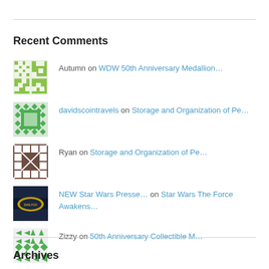Recent Comments
Autumn on WDW 50th Anniversary Medallion…
davidscointravels on Storage and Organization of Pe…
Ryan on Storage and Organization of Pe…
NEW Star Wars Presse… on Star Wars The Force Awakens…
Zizzy on 50th Anniversary Collectible M…
Archives